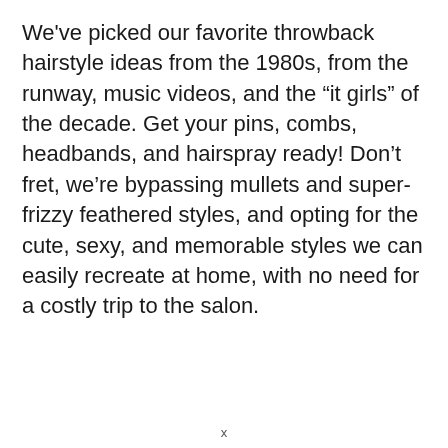We've picked our favorite throwback hairstyle ideas from the 1980s, from the runway, music videos, and the “it girls” of the decade. Get your pins, combs, headbands, and hairspray ready! Don’t fret, we’re bypassing mullets and super-frizzy feathered styles, and opting for the cute, sexy, and memorable styles we can easily recreate at home, with no need for a costly trip to the salon.
x